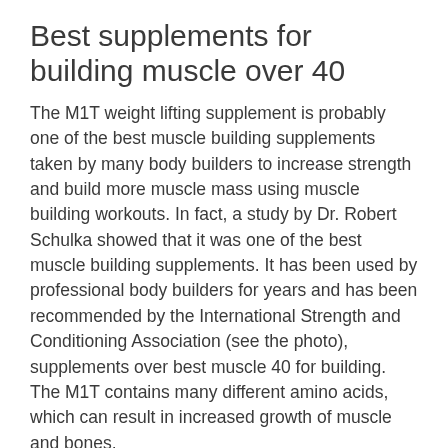Best supplements for building muscle over 40
The M1T weight lifting supplement is probably one of the best muscle building supplements taken by many body builders to increase strength and build more muscle mass using muscle building workouts. In fact, a study by Dr. Robert Schulka showed that it was one of the best muscle building supplements. It has been used by professional body builders for years and has been recommended by the International Strength and Conditioning Association (see the photo), supplements over best muscle 40 for building. The M1T contains many different amino acids, which can result in increased growth of muscle and bones.
However, it should be noted that the M1T...